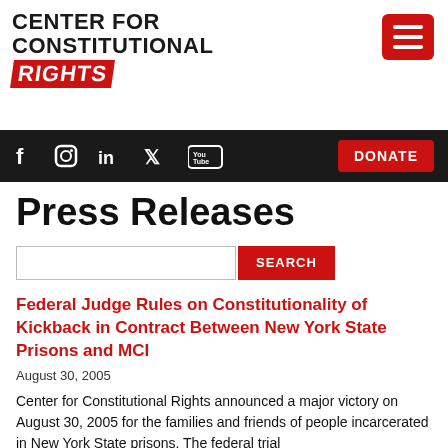[Figure (logo): Center for Constitutional Rights logo — bold uppercase text with red 'RIGHTS' banner]
[Figure (other): Hamburger menu button (red rounded square with three white bars)]
[Figure (other): Navigation bar with social media icons (Facebook, Instagram, LinkedIn, Twitter, YouTube) and red DONATE button]
Press Releases
[Figure (other): Search input box with red SEARCH button]
Federal Judge Rules on Constitutionality of Kickback in Contract Between New York State Prisons and MCI
August 30, 2005
Center for Constitutional Rights announced a major victory on August 30, 2005 for the families and friends of people incarcerated in New York State prisons. The federal trial